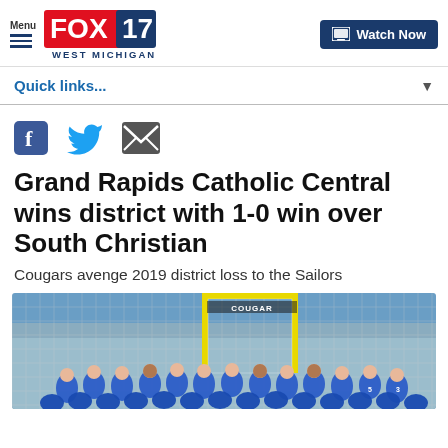FOX 17 WEST MICHIGAN — Menu | Watch Now
Quick links...
[Figure (logo): FOX 17 West Michigan logo with red FOX text and blue 17, with tagline WEST MICHIGAN below]
[Figure (infographic): Social sharing icons: Facebook (blue f), Twitter (blue bird), Email (dark envelope)]
Grand Rapids Catholic Central wins district with 1-0 win over South Christian
Cougars avenge 2019 district loss to the Sailors
[Figure (photo): Soccer team photo of Grand Rapids Catholic Central girls soccer team in blue uniforms celebrating in front of a goal net with a COUGAR sign in the background]